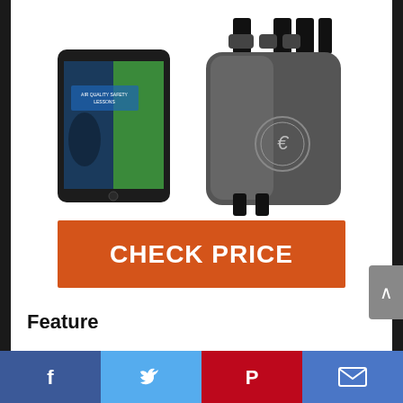[Figure (photo): Product image showing a tablet device displaying a book cover on the left, and a handheld air quality monitor device on the right]
CHECK PRICE
Feature
MULTIFUNCTIONAL & SCIENTIFIC – This indoor air quality monitor accurately assesses multiple measures of air quality including